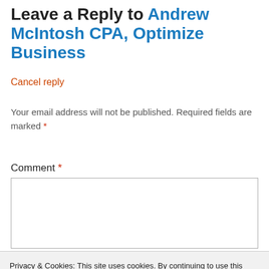Leave a Reply to Andrew McIntosh CPA, Optimize Business
Cancel reply
Your email address will not be published. Required fields are marked *
Comment *
[Figure (other): Empty comment text area input box]
Privacy & Cookies: This site uses cookies. By continuing to use this website, you agree to their use. To find out more, including how to control cookies, see here: Cookie Policy
Close and accept